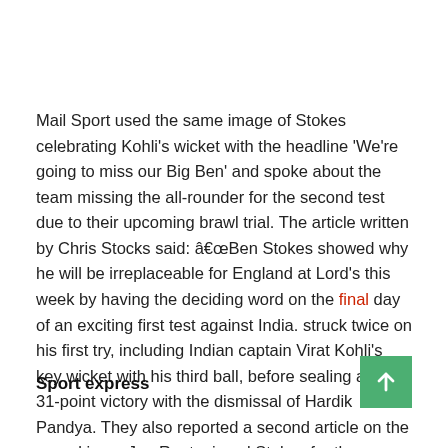Mail Sport used the same image of Stokes celebrating Kohli's wicket with the headline 'We're going to miss our Big Ben' and spoke about the team missing the all-rounder for the second test due to their upcoming brawl trial. The article written by Chris Stocks said: â€œBen Stokes showed why he will be irreplaceable for England at Lord's this week by having the deciding word on the final day of an exciting first test against India. struck twice on his first try, including Indian captain Virat Kohli's key wicket with his third ball, before sealing a tense 31-point victory with the dismissal of Hardik Pandya. They also reported a second article on the way skipper Joe Root missed Stokes for the second test.
Sport express